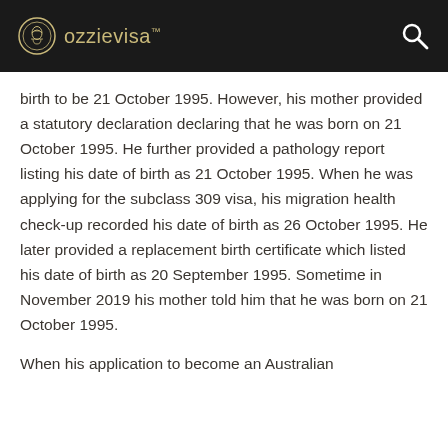ozzievisa™
birth to be 21 October 1995. However, his mother provided a statutory declaration declaring that he was born on 21 October 1995. He further provided a pathology report listing his date of birth as 21 October 1995. When he was applying for the subclass 309 visa, his migration health check-up recorded his date of birth as 26 October 1995. He later provided a replacement birth certificate which listed his date of birth as 20 September 1995. Sometime in November 2019 his mother told him that he was born on 21 October 1995.
When his application to become an Australian